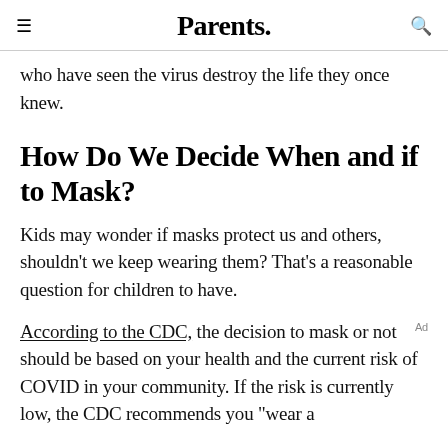Parents.
who have seen the virus destroy the life they once knew.
How Do We Decide When and if to Mask?
Kids may wonder if masks protect us and others, shouldn't we keep wearing them? That's a reasonable question for children to have.
According to the CDC, the decision to mask or not should be based on your health and the current risk of COVID in your community. If the risk is currently low, the CDC recommends you "wear a